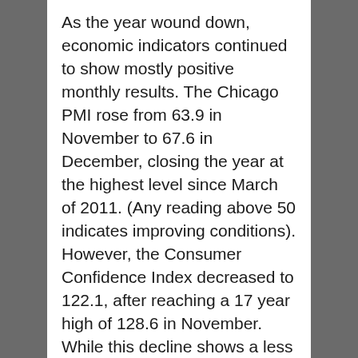As the year wound down, economic indicators continued to show mostly positive monthly results. The Chicago PMI rose from 63.9 in November to 67.6 in December, closing the year at the highest level since March of 2011. (Any reading above 50 indicates improving conditions). However, the Consumer Confidence Index decreased to 122.1, after reaching a 17 year high of 128.6 in November. While this decline shows a less optimistic outlook for business and job prospects in the coming months, the expectations remain at high levels, suggesting further growth in 2018. GDP grew at a 3.3% annualized rate in the 3rd quarter, the fastest in three years. Jobless claims remain at their